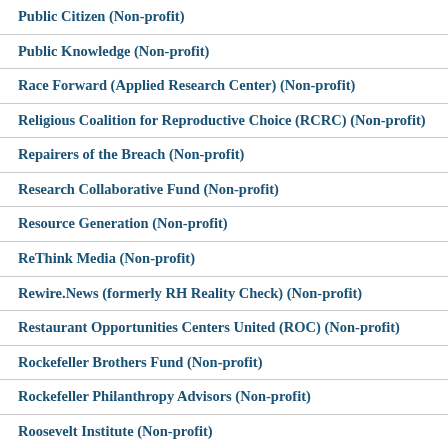Public Citizen (Non-profit)
Public Knowledge (Non-profit)
Race Forward (Applied Research Center) (Non-profit)
Religious Coalition for Reproductive Choice (RCRC) (Non-profit)
Repairers of the Breach (Non-profit)
Research Collaborative Fund (Non-profit)
Resource Generation (Non-profit)
ReThink Media (Non-profit)
Rewire.News (formerly RH Reality Check) (Non-profit)
Restaurant Opportunities Centers United (ROC) (Non-profit)
Rockefeller Brothers Fund (Non-profit)
Rockefeller Philanthropy Advisors (Non-profit)
Roosevelt Institute (Non-profit)